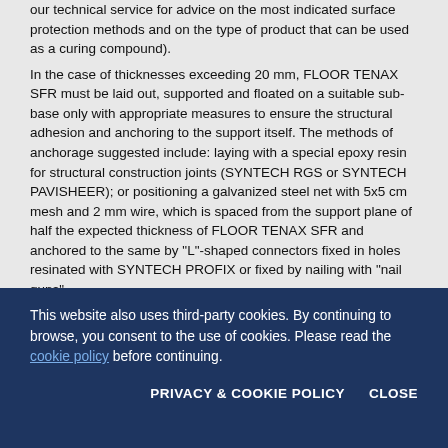our technical service for advice on the most indicated surface protection methods and on the type of product that can be used as a curing compound). In the case of thicknesses exceeding 20 mm, FLOOR TENAX SFR must be laid out, supported and floated on a suitable sub-base only with appropriate measures to ensure the structural adhesion and anchoring to the support itself. The methods of anchorage suggested include: laying with a special epoxy resin for structural construction joints (SYNTECH RGS or SYNTECH PAVISHEER); or positioning a galvanized steel net with 5x5 cm mesh and 2 mm wire, which is spaced from the support plane of half the expected thickness of FLOOR TENAX SFR and anchored to the same by "L"-shaped connectors fixed in holes resinated with SYNTECH PROFIX or fixed by nailing with "nail guns". Provide a cover with wet TNT and waterproof sheet as soon as the surfaces are walkable and keep the surfaces covered for at least 48 hours. It is always important to carry out preliminary tests to check
This website also uses third-party cookies. By continuing to browse, you consent to the use of cookies. Please read the cookie policy before continuing.
PRIVACY & COOKIE POLICY    CLOSE